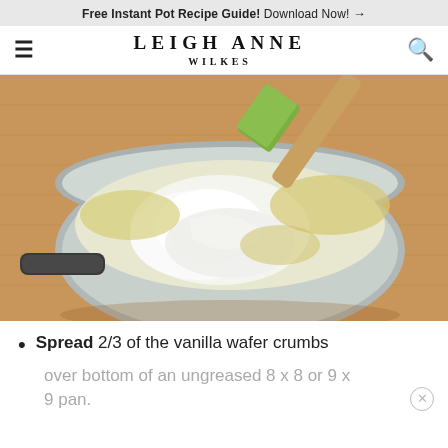Free Instant Pot Recipe Guide! Download Now! →
LEIGH ANNE WILKES
[Figure (photo): A silver saucepan on a wooden cutting board containing a creamy white mixture being stirred with a green and wood-handled spatula. The mixture appears to be a cream cheese or vanilla-based filling.]
Spread 2/3 of the vanilla wafer crumbs
over bottom of an ungreased 8 x 8 or 9 x 9 pan.